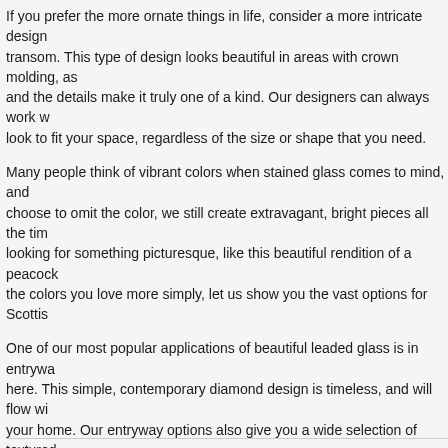If you prefer the more ornate things in life, consider a more intricate design transom. This type of design looks beautiful in areas with crown molding, as and the details make it truly one of a kind. Our designers can always work w look to fit your space, regardless of the size or shape that you need.
Many people think of vibrant colors when stained glass comes to mind, and choose to omit the color, we still create extravagant, bright pieces all the tim looking for something picturesque, like this beautiful rendition of a peacock the colors you love more simply, let us show you the vast options for Scottis
One of our most popular applications of beautiful leaded glass is in entrywa here. This simple, contemporary diamond design is timeless, and will flow wi your home. Our entryway options also give you a wide selection of textured increase privacy in this area.
Bathrooms are another common place that homeowners choose to invest i When you need privacy but donâ€™t want to give up your natural light, text perfect solution. This beautiful space was made even more relaxing and invi of beveled windows in the space over the tub, as well as in the door. Our cu perfect windows for any space in your home!